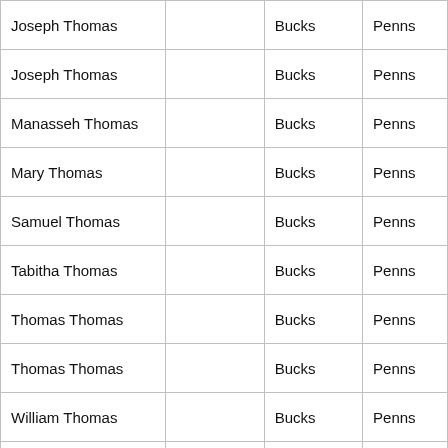| Name | Township | County | State |
| --- | --- | --- | --- |
| Joseph Thomas |  | Bucks | Penns |
| Joseph Thomas |  | Bucks | Penns |
| Manasseh Thomas |  | Bucks | Penns |
| Mary Thomas |  | Bucks | Penns |
| Samuel Thomas |  | Bucks | Penns |
| Tabitha Thomas |  | Bucks | Penns |
| Thomas Thomas |  | Bucks | Penns |
| Thomas Thomas |  | Bucks | Penns |
| William Thomas |  | Bucks | Penns |
| Thomas Thomas | Brandywine | Chester | Penns |
| Isaac Thomas | Charlestown | Chester | Penns |
| Morris Thomas | Charlestown | Chester | Penns |
| Wm (Mason) Thomas | Charlestown | Chester | Penns |
|  |  |  |  |